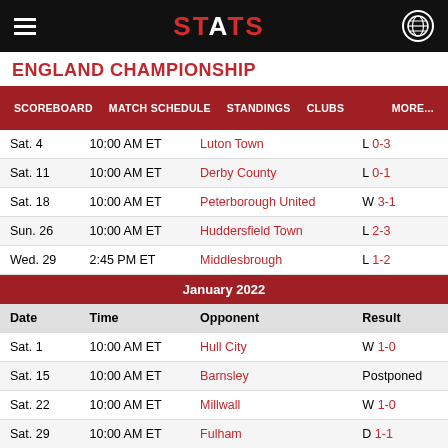STATS
ENGLAND CHAMPIONSHIP
| SCOREBOARD | MATCH SCHEDULE | STANDINGS | CLUBS | MORE... |
| --- | --- | --- | --- | --- |
| Date | Time | Opponent | Result |
| --- | --- | --- | --- |
| Sat. 4 | 10:00 AM ET | Luton Town | L 0-3 |
| Sat. 11 | 10:00 AM ET | Derby County | L 0-1 |
| Sat. 18 | 10:00 AM ET | Peterborough United | W 3-1 |
| Sun. 26 | 10:00 AM ET | Huddersfield Town | L 2-3 |
| Wed. 29 | 2:45 PM ET | Middlesbrough | L 1-2 |
| January 2022 |  |  |  |
| Date | Time | Opponent | Result |
| Sat. 1 | 10:00 AM ET | Hull City | W 1-0 |
| Sat. 15 | 10:00 AM ET | Barnsley | Postponed |
| Sat. 22 | 10:00 AM ET | Millwall | W 1-0 |
| Sat. 29 | 10:00 AM ET | Fulham | D 1-1 |
| February 2022 |  |  |  |